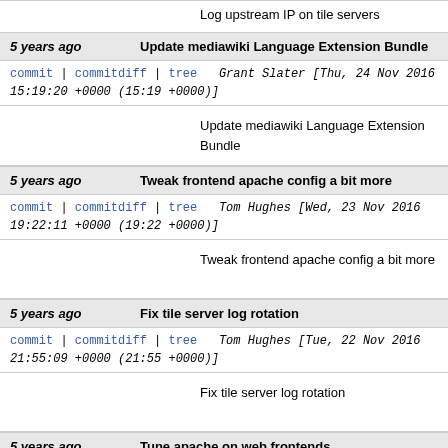Log upstream IP on tile servers
5 years ago   Update mediawiki Language Extension Bundle
commit | commitdiff | tree   Grant Slater [Thu, 24 Nov 2016 15:19:20 +0000 (15:19 +0000)]
Update mediawiki Language Extension Bundle
5 years ago   Tweak frontend apache config a bit more
commit | commitdiff | tree   Tom Hughes [Wed, 23 Nov 2016 19:22:11 +0000 (19:22 +0000)]
Tweak frontend apache config a bit more
5 years ago   Fix tile server log rotation
commit | commitdiff | tree   Tom Hughes [Tue, 22 Nov 2016 21:55:09 +0000 (21:55 +0000)]
Fix tile server log rotation
5 years ago   Tune apache on web frontends
commit | commitdiff | tree   Tom Hughes [Tue, 22 Nov 2016 19:50:05 +0000 (19:50 +0000)]